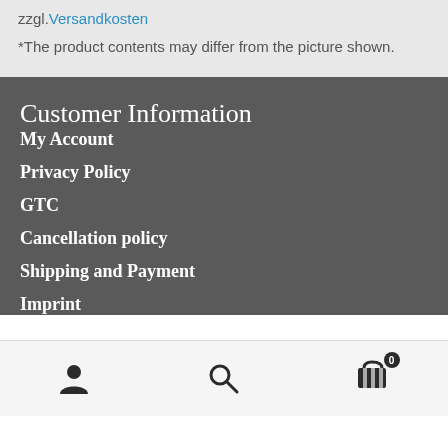zzgl. Versandkosten
*The product contents may differ from the picture shown.
Customer Information
My Account
Privacy Policy
GTC
Cancellation policy
Shipping and Payment
Imprint
[Figure (infographic): Bottom navigation bar with user account icon, search icon, and shopping cart icon with badge showing 0]